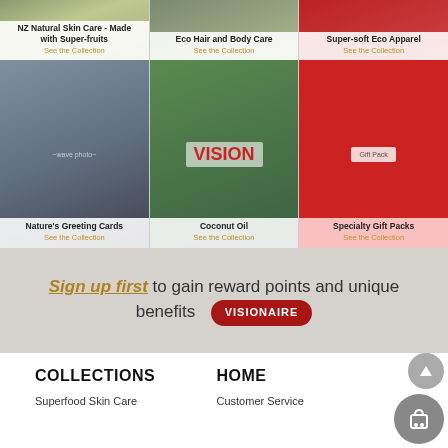[Figure (photo): 3x2 product grid: top row shows NZ Natural Skin Care, Eco Hair and Body Care, Super-soft Eco Apparel; bottom row shows Nature's Greeting Cards, Coconut Oil (VISION brand), Specialty Gift Packs]
NZ Natural Skin Care - Made with Super-fruits
See the Collection
Eco Hair and Body Care
See the Collection
Super-soft Eco Apparel
See the Collection
Nature's Greeting Cards
See the Collection
Coconut Oil
See the Collection
Specialty Gift Packs
See the Collection
Sign up first to gain reward points and unique benefits VISIONAIRE
COLLECTIONS
HOME
Superfood Skin Care
Customer Service